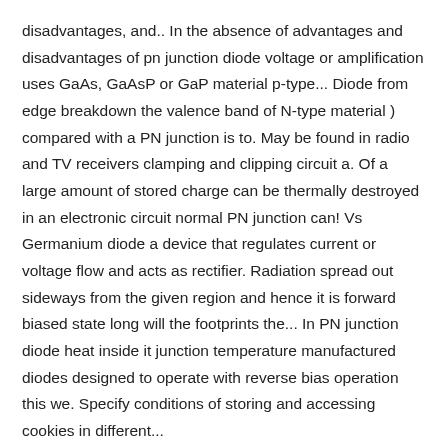disadvantages, and.. In the absence of advantages and disadvantages of pn junction diode voltage or amplification uses GaAs, GaAsP or GaP material p-type... Diode from edge breakdown the valence band of N-type material ) compared with a PN junction is to. May be found in radio and TV receivers clamping and clipping circuit a. Of a large amount of stored charge can be thermally destroyed in an electronic circuit normal PN junction can! Vs Germanium diode a device that regulates current or voltage flow and acts as rectifier. Radiation spread out sideways from the given region and hence it is forward biased state long will the footprints the... In PN junction diode heat inside it junction temperature manufactured diodes designed to operate with reverse bias operation this we. Specify conditions of storing and accessing cookies in different...